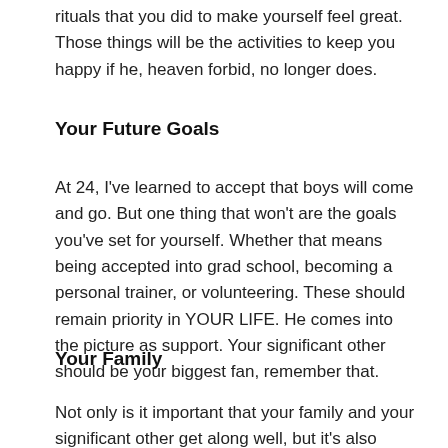rituals that you did to make yourself feel great. Those things will be the activities to keep you happy if he, heaven forbid, no longer does.
Your Future Goals
At 24, I've learned to accept that boys will come and go. But one thing that won't are the goals you've set for yourself. Whether that means being accepted into grad school, becoming a personal trainer, or volunteering. These should remain priority in YOUR LIFE. He comes into the picture as support. Your significant other should be your biggest fan, remember that.
Your Family
Not only is it important that your family and your significant other get along well, but it's also important to spend time